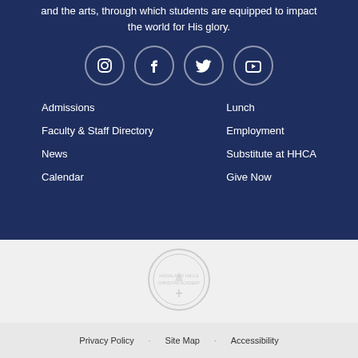and the arts, through which students are equipped to impact the world for His glory.
[Figure (illustration): Four social media icon circles: Instagram, Facebook, Twitter, YouTube — white outlines on dark navy background]
Admissions
Faculty & Staff Directory
News
Calendar
Lunch
Employment
Substitute at HHCA
Give Now
[Figure (logo): Circular school seal/logo with light gray color on light gray background]
Privacy Policy   Site Map   Accessibility